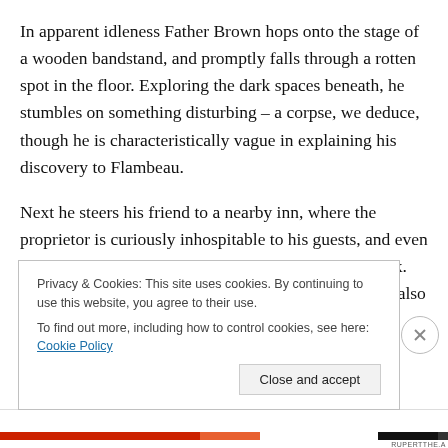In apparent idleness Father Brown hops onto the stage of a wooden bandstand, and promptly falls through a rotten spot in the floor. Exploring the dark spaces beneath, he stumbles on something disturbing – a corpse, we deduce, though he is characteristically vague in explaining his discovery to Flambeau.
Next he steers his friend to a nearby inn, where the proprietor is curiously inhospitable to his guests, and even more curiously deferential to his bellowing black cook. Flambeau takes an instant dislike to this cook, who is also the farm hand in fictitious "Nice to Meet" and is nostalgic about...
Privacy & Cookies: This site uses cookies. By continuing to use this website, you agree to their use.
To find out more, including how to control cookies, see here: Cookie Policy